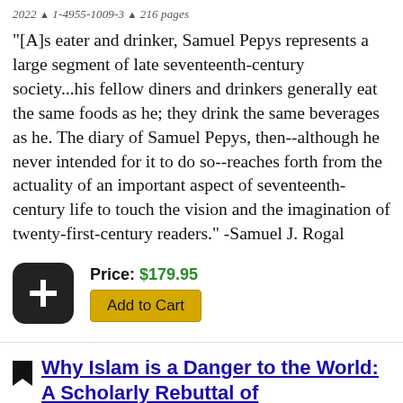2022 ▲ 1-4955-1009-3 ▲ 216 pages
"[A]s eater and drinker, Samuel Pepys represents a large segment of late seventeenth-century society...his fellow diners and drinkers generally eat the same foods as he; they drink the same beverages as he. The diary of Samuel Pepys, then--although he never intended for it to do so--reaches forth from the actuality of an important aspect of seventeenth-century life to touch the vision and the imagination of twenty-first-century readers." -Samuel J. Rogal
Price: $179.95
Add to Cart
Why Islam is a Danger to the World: A Scholarly Rebuttal of